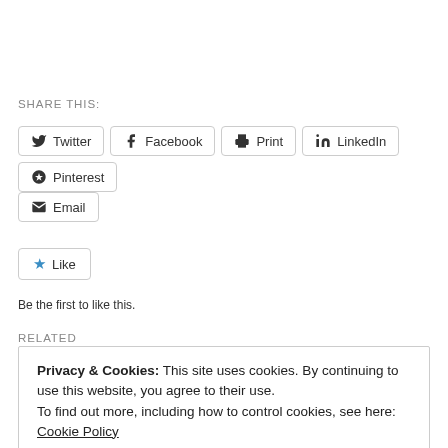SHARE THIS:
Twitter
Facebook
Print
LinkedIn
Pinterest
Email
Like
Be the first to like this.
RELATED
Privacy & Cookies: This site uses cookies. By continuing to use this website, you agree to their use.
To find out more, including how to control cookies, see here: Cookie Policy
Close and accept